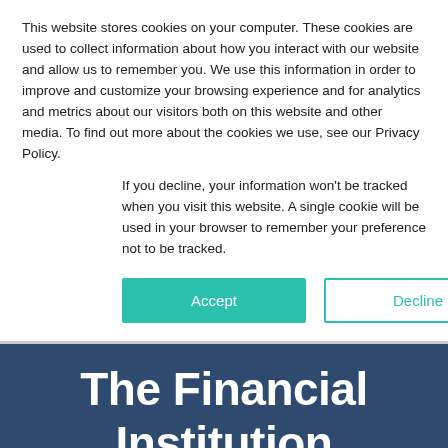This website stores cookies on your computer. These cookies are used to collect information about how you interact with our website and allow us to remember you. We use this information in order to improve and customize your browsing experience and for analytics and metrics about our visitors both on this website and other media. To find out more about the cookies we use, see our Privacy Policy.
If you decline, your information won’t be tracked when you visit this website. A single cookie will be used in your browser to remember your preference not to be tracked.
Accept
Decline
The Financial Institution Learning Center